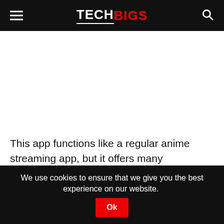TECHBIGS
[Figure (other): White advertisement/content placeholder area]
This app functions like a regular anime streaming app, but it offers many categories for you to enjoy. You can also get notified about the latest shows, episodes, and anime news.
You can also download anime episodes and movies so that
We use cookies to ensure that we give you the best experience on our website. Ok